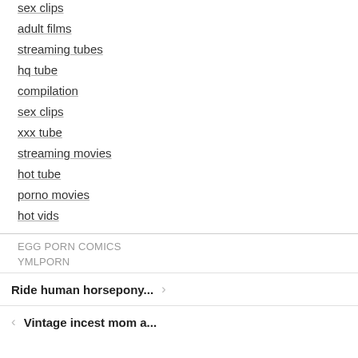sex clips
adult films
streaming tubes
hq tube
compilation
sex clips
xxx tube
streaming movies
hot tube
porno movies
hot vids
EGG PORN COMICS
YMLPORN
Ride human horsepony...
Vintage incest mom a...